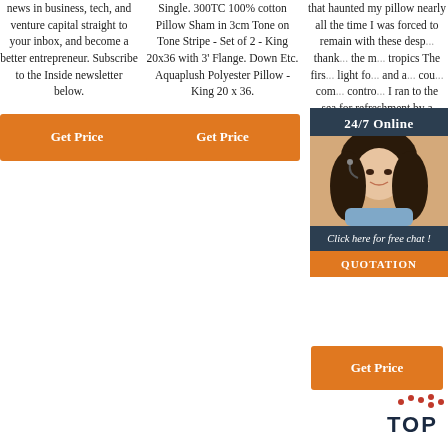news in business, tech, and venture capital straight to your inbox, and become a better entrepreneur. Subscribe to the Inside newsletter below.
Get Price
Single. 300TC 100% cotton Pillow Sham in 3cm Tone on Tone Stripe - Set of 2 - King 20x36 with 3' Flange. Down Etc. Aquaplush Polyester Pillow - King 20 x 36.
Get Price
that haunted my pillow nearly all the time I was forced to remain with these desp... thank... the m... tropics The firs... light fo... and a... cou... com... contro... I ran to the sea for refreshment by a glorious surf-bath.
[Figure (infographic): 24/7 Online chat widget with female customer service representative avatar, 'Click here for free chat!' text, and QUOTATION button]
Get Price
TOP